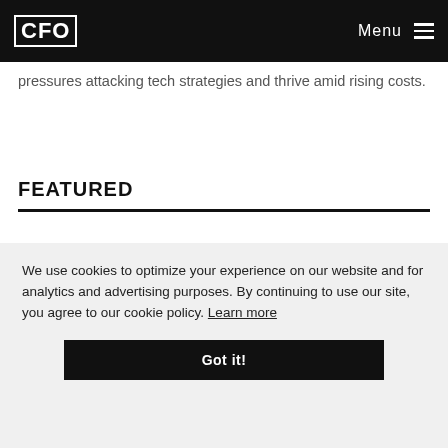CFO | Menu
pressures attacking tech strategies and thrive amid rising costs.
FEATURED
[Figure (photo): Interior office or corridor photograph, partially visible, light tones with ceiling lights]
We use cookies to optimize your experience on our website and for analytics and advertising purposes. By continuing to use our site, you agree to our cookie policy. Learn more
Got it!